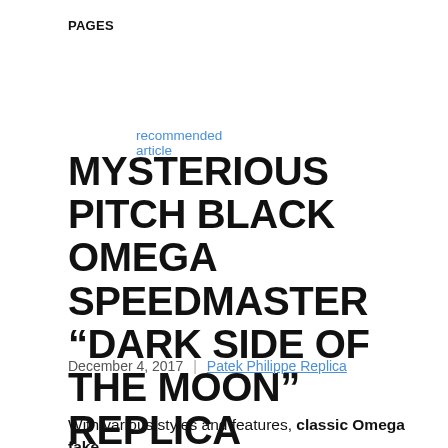PAGES
recommended article
MYSTERIOUS PITCH BLACK OMEGA SPEEDMASTER “DARK SIDE OF THE MOON” REPLICA WATCHES FOR MEN
December 4, 2017  |  Patek Philippe Replica
With various styles and features, classic Omega fake